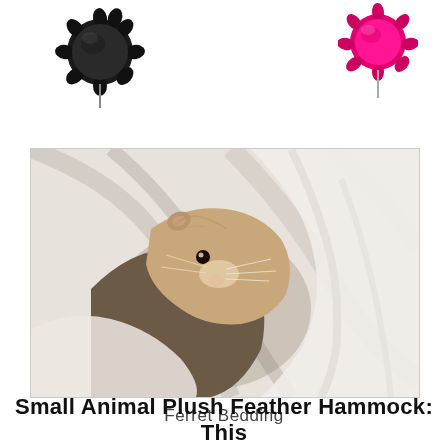[Figure (photo): Black fluffy pom-pom toy on white background, upper left]
[Figure (photo): Pink/magenta fluffy pom-pom toy on white background, upper right]
[Figure (photo): A ferret peeking out from white fabric/bedding, product photo for ferret bedding]
Ferret Bedding
Small Animal Plush Feather Hammock: This